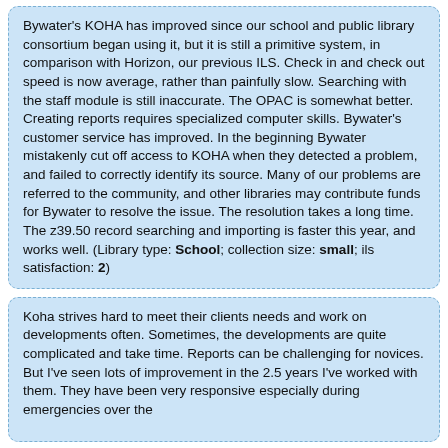Bywater's KOHA has improved since our school and public library consortium began using it, but it is still a primitive system, in comparison with Horizon, our previous ILS. Check in and check out speed is now average, rather than painfully slow. Searching with the staff module is still inaccurate. The OPAC is somewhat better. Creating reports requires specialized computer skills. Bywater's customer service has improved. In the beginning Bywater mistakenly cut off access to KOHA when they detected a problem, and failed to correctly identify its source. Many of our problems are referred to the community, and other libraries may contribute funds for Bywater to resolve the issue. The resolution takes a long time. The z39.50 record searching and importing is faster this year, and works well. (Library type: School; collection size: small; ils satisfaction: 2)
Koha strives hard to meet their clients needs and work on developments often. Sometimes, the developments are quite complicated and take time. Reports can be challenging for novices. But I've seen lots of improvement in the 2.5 years I've worked with them. They have been very responsive especially during emergencies over the